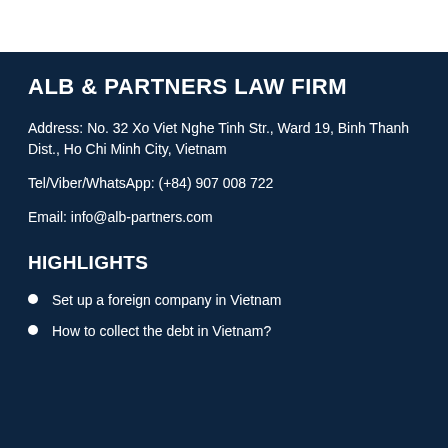ALB & PARTNERS LAW FIRM
Address: No. 32 Xo Viet Nghe Tinh Str., Ward 19, Binh Thanh Dist., Ho Chi Minh City, Vietnam
Tel/Viber/WhatsApp: (+84) 907 008 722
Email: info@alb-partners.com
HIGHLIGHTS
Set up a foreign company in Vietnam
How to collect the debt in Vietnam?